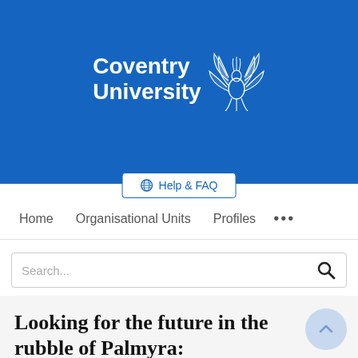[Figure (logo): Coventry University logo with phoenix bird graphic on blue background]
Help & FAQ
Home   Organisational Units   Profiles   ...
Search...
Looking for the future in the rubble of Palmyra: Destruction,